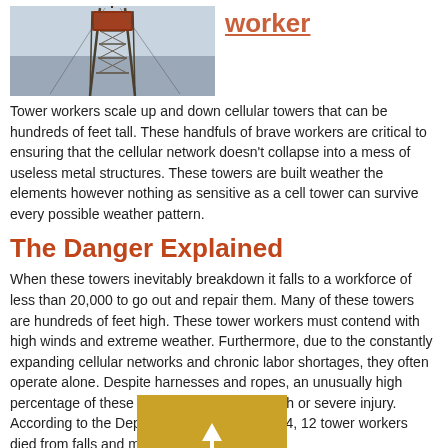[Figure (photo): Photo of a tall cellular/radio tower against a grey sky]
worker
Tower workers scale up and down cellular towers that can be hundreds of feet tall. These handfuls of brave workers are critical to ensuring that the cellular network doesn't collapse into a mess of useless metal structures. These towers are built weather the elements however nothing as sensitive as a cell tower can survive every possible weather pattern.
The Danger Explained
When these towers inevitably breakdown it falls to a workforce of less than 20,000 to go out and repair them. Many of these towers are hundreds of feet high. These tower workers must contend with high winds and extreme weather. Furthermore, due to the constantly expanding cellular networks and chronic labor shortages, they often operate alone. Despite harnesses and ropes, an unusually high percentage of these workers fall to their death or severe injury. According to the Department of Labor in 2014, 12 tower workers died from falls and more were injured.
What is being d